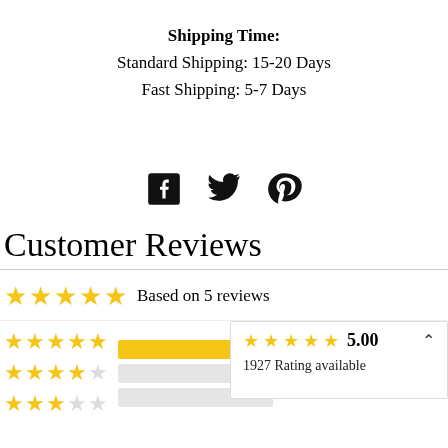Shipping Time:
Standard Shipping: 15-20 Days
Fast Shipping: 5-7 Days
[Figure (other): Social media share icons: Facebook, Twitter, Pinterest]
Customer Reviews
Based on 5 reviews
[Figure (infographic): Star rating breakdown bars with popup showing 5.00 rating and 1927 Rating available]